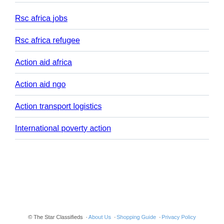Rsc africa jobs
Rsc africa refugee
Action aid africa
Action aid ngo
Action transport logistics
International poverty action
© The Star Classifieds · About Us · Shopping Guide · Privacy Policy